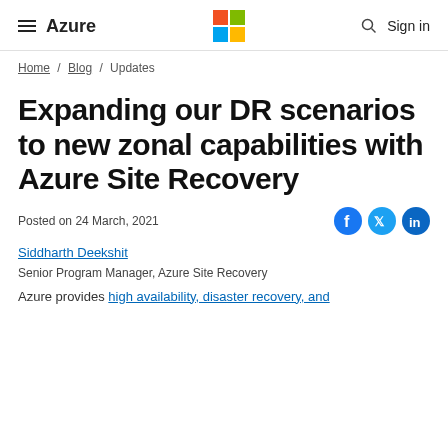≡ Azure | Microsoft Logo | 🔍 Sign in
Home / Blog / Updates
Expanding our DR scenarios to new zonal capabilities with Azure Site Recovery
Posted on 24 March, 2021
Siddharth Deekshit
Senior Program Manager, Azure Site Recovery
Azure provides high availability, disaster recovery, and